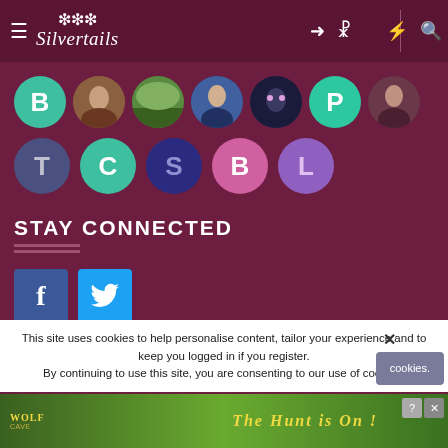Silvertails navigation header with hamburger menu, logo, login, add user, lightning, search icons
[Figure (screenshot): Row of circular user avatars/profile icons: teal circle with letter B, photo of man, photo of countryside, photo of man in suit, dark fantasy character, teal circle with letter P, photo of person]
[Figure (screenshot): Second row of letter circles: blue-grey T, teal C, dark blue S, pink/rose B, purple L]
STAY CONNECTED
[Figure (infographic): Facebook and Twitter social media button icons (blue squares with f and bird icons)]
This site uses cookies to help personalise content, tailor your experience and to keep you logged in if you register. By continuing to use this site, you are consenting to our use of cookies.
[Figure (screenshot): Wolf Cave advertisement banner: THE HUNT IS ON!]